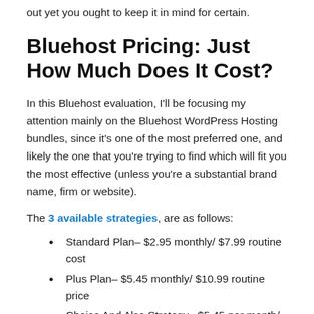out yet you ought to keep it in mind for certain.
Bluehost Pricing: Just How Much Does It Cost?
In this Bluehost evaluation, I'll be focusing my attention mainly on the Bluehost WordPress Hosting bundles, since it's one of the most preferred one, and likely the one that you're trying to find which will fit you the most effective (unless you're a substantial brand name, firm or website).
The 3 available strategies, are as follows:
Standard Plan– $2.95 monthly/ $7.99 routine cost
Plus Plan– $5.45 monthly/ $10.99 routine price
Choice And Also Strategy– $5.45 per month/ $14.99 normal rate
The very first rate you see is the rate you pay upon register,